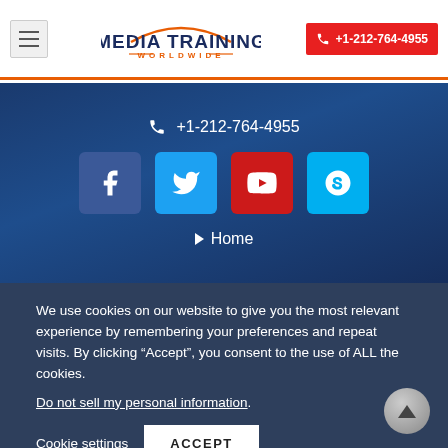[Figure (logo): Media Training Worldwide logo with navy text and orange arc/underline]
+1-212-764-4955
[Figure (infographic): Blue hero banner with phone number +1-212-764-4955, four social media icons (Facebook, Twitter, YouTube, Skype), and Home navigation link]
We use cookies on our website to give you the most relevant experience by remembering your preferences and repeat visits. By clicking “Accept”, you consent to the use of ALL the cookies.
Do not sell my personal information.
Cookie settings
ACCEPT